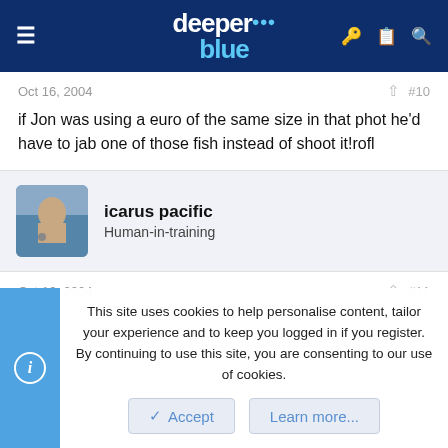deeper blue
Oct 16, 2004   #10
if Jon was using a euro of the same size in that phot he'd have to jab one of those fish instead of shoot it!rofl
icarus pacific
Human-in-training
Oct 16, 2004   #11
This site uses cookies to help personalise content, tailor your experience and to keep you logged in if you register.
By continuing to use this site, you are consenting to our use of cookies.